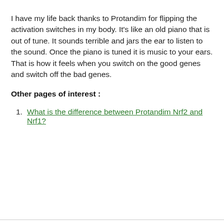I have my life back thanks to Protandim for flipping the activation switches in my body. It's like an old piano that is out of tune. It sounds terrible and jars the ear to listen to the sound. Once the piano is tuned it is music to your ears. That is how it feels when you switch on the good genes and switch off the bad genes.
Other pages of interest :
What is the difference between Protandim Nrf2 and Nrf1?